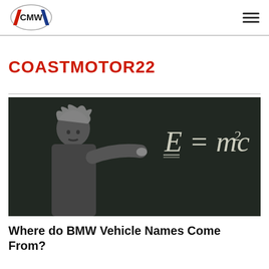CMW | COASTMOTOR22
COASTMOTOR22
[Figure (photo): Black and white photograph of Albert Einstein writing E=mc² on a chalkboard]
Where do BMW Vehicle Names Come From?